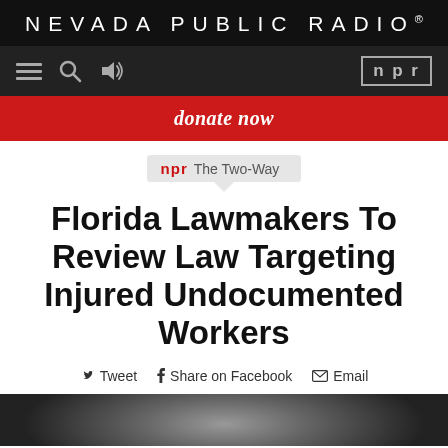NEVADA PUBLIC RADIO®
[Figure (logo): Nevada Public Radio navigation bar with hamburger menu, search icon, speaker icon, and NPR badge]
donate now
npr The Two-Way
Florida Lawmakers To Review Law Targeting Injured Undocumented Workers
Tweet  Share on Facebook  Email
[Figure (photo): Partial photo of a person at the bottom of the page]